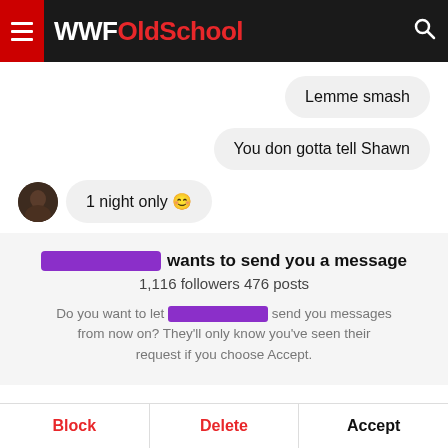WWFOldSchool
Lemme smash
You don gotta tell Shawn
1 night only 😊
[redacted] wants to send you a message
1,116 followers 476 posts
Do you want to let [redacted] send you messages from now on? They'll only know you've seen their request if you choose Accept.
Block  Delete  Accept